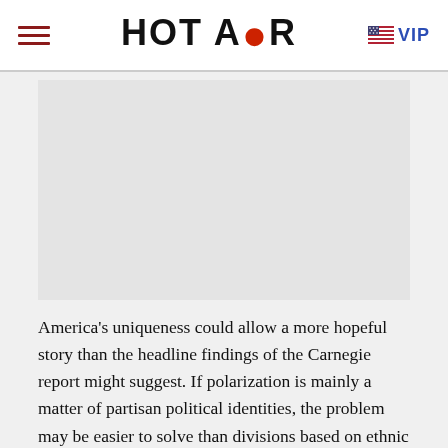HOT AIR  VIP
[Figure (other): Gray rectangular advertisement placeholder area]
America's uniqueness could allow a more hopeful story than the headline findings of the Carnegie report might suggest. If polarization is mainly a matter of partisan political identities, the problem may be easier to solve than divisions based on ethnic or religious sectarianism.